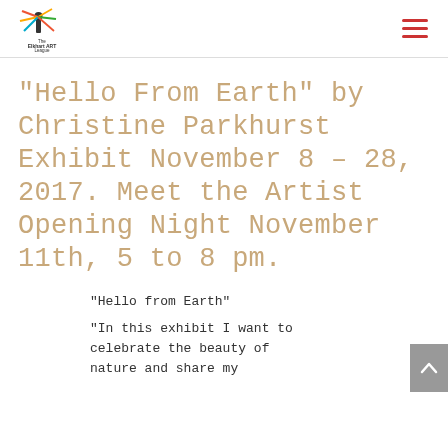The Elkhart Art League
“Hello From Earth” by Christine Parkhurst Exhibit November 8 – 28, 2017. Meet the Artist Opening Night November 11th, 5 to 8 pm.
“Hello from Earth”
“In this exhibit I want to celebrate the beauty of nature and share my